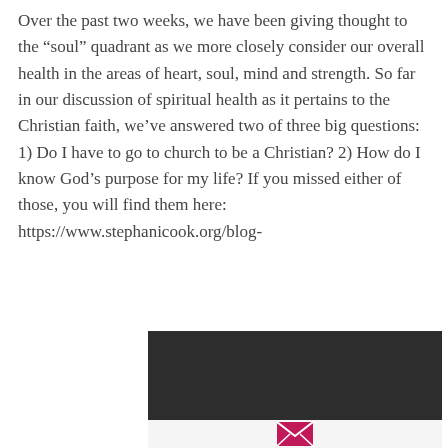Over the past two weeks, we have been giving thought to the “soul” quadrant as we more closely consider our overall health in the areas of heart, soul, mind and strength. So far in our discussion of spiritual health as it pertains to the Christian faith, we’ve answered two of three big questions: 1) Do I have to go to church to be a Christian? 2) How do I know God’s purpose for my life? If you missed either of those, you will find them here: https://www.stephanicook.org/blog-
[Figure (other): Dark banner background element at bottom of page]
[Figure (other): Email envelope icon (pink/magenta) in footer area]